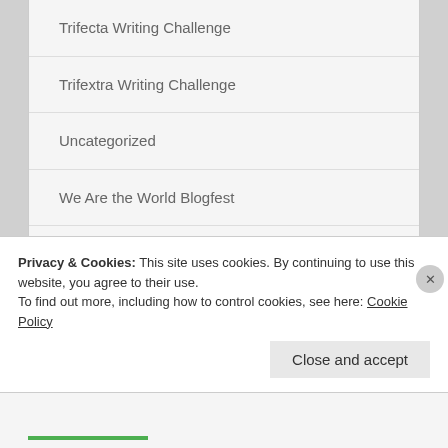Trifecta Writing Challenge
Trifextra Writing Challenge
Uncategorized
We Are the World Blogfest
weekly photo challenge
Weird. Just weird.
Wordless Wednesday (or Mostly)
Privacy & Cookies: This site uses cookies. By continuing to use this website, you agree to their use.
To find out more, including how to control cookies, see here: Cookie Policy
Close and accept